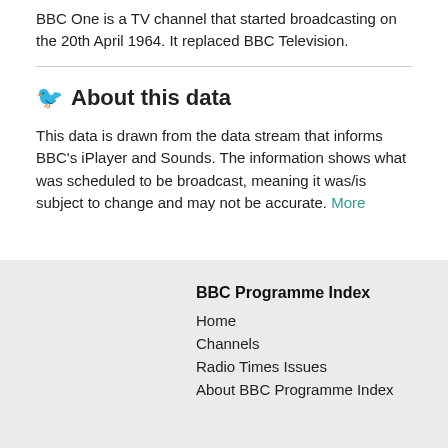BBC One is a TV channel that started broadcasting on the 20th April 1964. It replaced BBC Television.
About this data
This data is drawn from the data stream that informs BBC's iPlayer and Sounds. The information shows what was scheduled to be broadcast, meaning it was/is subject to change and may not be accurate. More
BBC Programme Index
Home
Channels
Radio Times Issues
About BBC Programme Index